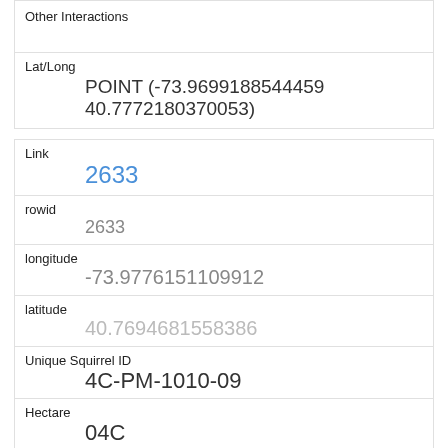| Other Interactions |  |
| Lat/Long | POINT (-73.9699188544459 40.7772180370053) |
| Link | 2633 |
| rowid | 2633 |
| longitude | -73.9776151109912 |
| latitude | 40.7694681558386 |
| Unique Squirrel ID | 4C-PM-1010-09 |
| Hectare | 04C |
| Shift | PM |
| Date | 10102018 |